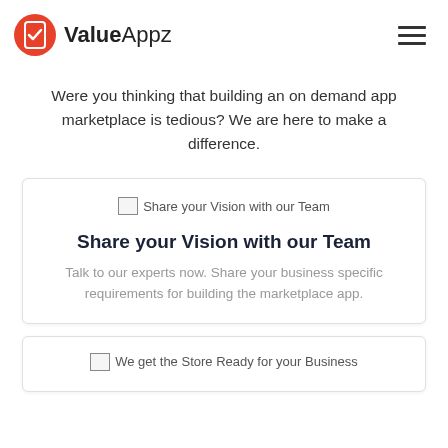ValueAppz
Were you thinking that building an on demand app marketplace is tedious? We are here to make a difference.
[Figure (illustration): Card with broken image placeholder labeled 'Share your Vision with our Team', title 'Share your Vision with our Team', and descriptive text below.]
[Figure (illustration): Card with broken image placeholder labeled 'We get the Store Ready for your Business'.]